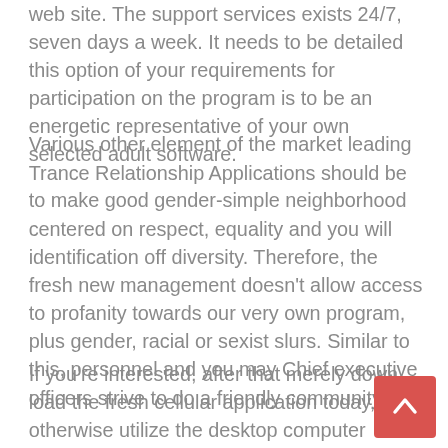web site. The support services exists 24/7, seven days a week. It needs to be detailed this option of your requirements for participation on the program is to be an energetic representative of your own selected adult software.
Various other element of the market leading Trance Relationship Applications should be to make good gender-simple neighborhood centered on respect, equality and you will identification off diversity. Therefore, the fresh new management doesn't allow access to profanity towards our very own program, plus gender, racial or sexist slurs. Similar to this, personnel and you may Chief executive officers strive to do a friendly community.
If you're interested, after that merely down load the fresh cellular application today, otherwise utilize the desktop computer version to begin with chatting with trans and can non-binary people from their part otherwise the cis